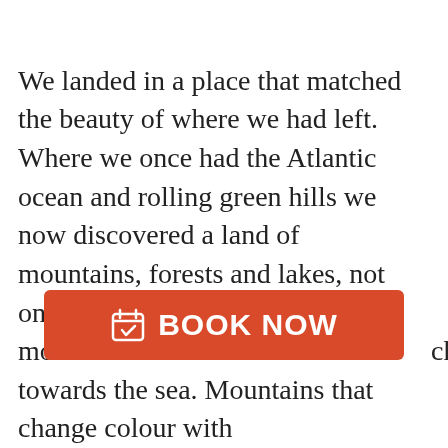We landed in a place that matched the beauty of where we had left. Where we once had the Atlantic ocean and rolling green hills we now discovered a land of mountains, forests and lakes, not only mounta...ch towards the sea. Mountains that change colour with
[Figure (other): Orange/red 'BOOK NOW' button with a calendar check icon, overlaid on the text]